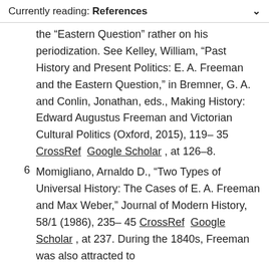Currently reading: References
...Hovey's focus is on Freeman's perception of the “Eastern Question” rather on his periodization. See Kelley, William, “Past History and Present Politics: E. A. Freeman and the Eastern Question,” in Bremner, G. A. and Conlin, Jonathan, eds., Making History: Edward Augustus Freeman and Victorian Cultural Politics (Oxford, 2015), 119–35 CrossRef Google Scholar , at 126–8.
6  Momigliano, Arnaldo D., “Two Types of Universal History: The Cases of E. A. Freeman and Max Weber,” Journal of Modern History, 58/1 (1986), 235–45 CrossRef Google Scholar , at 237. During the 1840s, Freeman was also attracted to